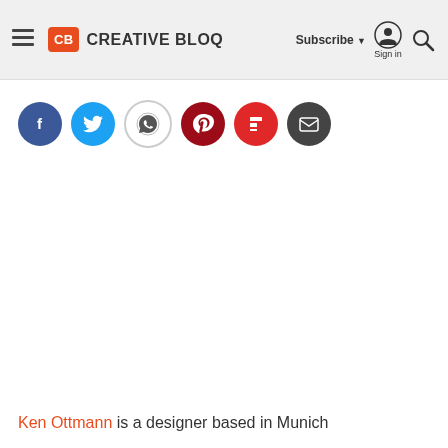Creative Bloq — Subscribe | Sign in
[Figure (infographic): Row of social share icon buttons: Facebook (blue), Twitter (light blue), WhatsApp (white/grey outline), Pinterest (dark red), Flipboard (red), Email (dark grey)]
Ken Ottmann is a designer based in Munich